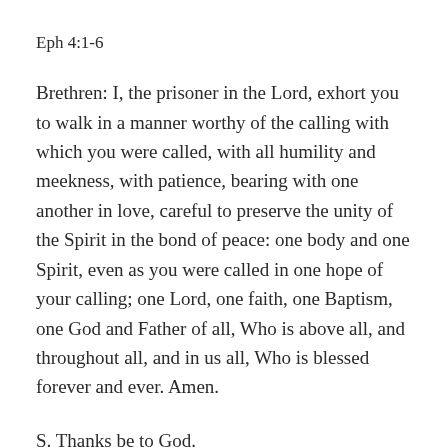Eph 4:1-6
Brethren: I, the prisoner in the Lord, exhort you to walk in a manner worthy of the calling with which you were called, with all humility and meekness, with patience, bearing with one another in love, careful to preserve the unity of the Spirit in the bond of peace: one body and one Spirit, even as you were called in one hope of your calling; one Lord, one faith, one Baptism, one God and Father of all, Who is above all, and throughout all, and in us all, Who is blessed forever and ever. Amen.
S. Thanks be to God.